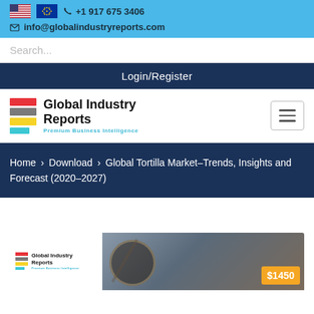+1 917 675 3406 | info@globalindustryreports.com
Search...
Login/Register
[Figure (logo): Global Industry Reports logo with colored horizontal bars (red, gray, yellow, cyan) and text 'Global Industry Reports - Premium Business Intelligence']
Home > Download > Global Tortilla Market-Trends, Insights and Forecast (2020-2027)
[Figure (screenshot): Bottom portion showing Global Industry Reports logo on white background alongside a photo, with an orange price badge showing $1450]